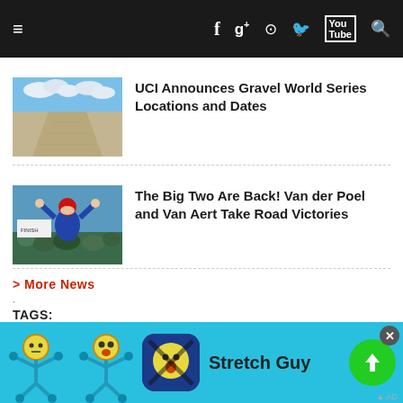Navigation bar with hamburger menu, Facebook, Google+, camera, Twitter, YouTube, search icons
[Figure (photo): Thumbnail of a gravel dirt road under cloudy sky]
UCI Announces Gravel World Series Locations and Dates
[Figure (photo): Thumbnail of cyclist raising arms in victory celebration]
The Big Two Are Back! Van der Poel and Van Aert Take Road Victories
> More News
TAGS:
CROSSHAIRS
DCCX
DCMTB
PRO CX
RACE PREVIEW
WASHINGTON DC
[Figure (screenshot): Advertisement banner for Stretch Guy app showing stick figure, app icon, app name, and download button]